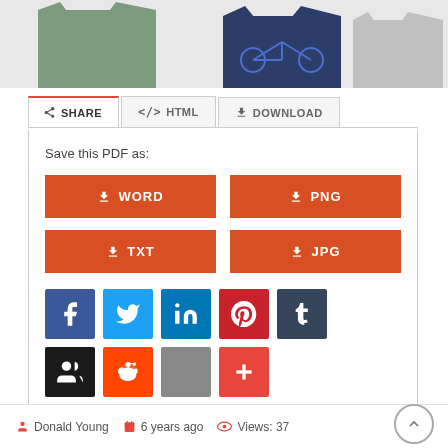[Figure (screenshot): Top strip showing three t-shirts: green, navy with bicycle graphic, and gray]
SHARE | </> HTML | DOWNLOAD (tab bar)
Save this PDF as:
WORD  PNG  TXT  JPG (download buttons)
[Figure (screenshot): Social sharing icons: Facebook, Twitter, LinkedIn, Pinterest, Tumblr, MySpace, Reddit, gray square, plus button]
Donald Young  6 years ago  Views: 37